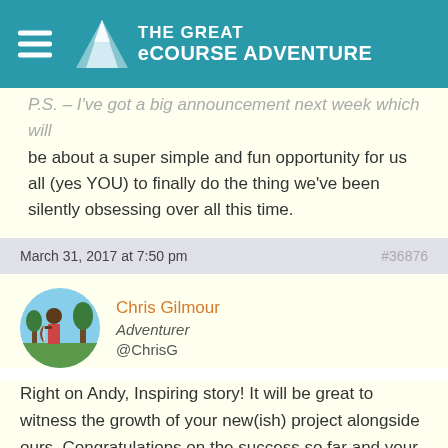THE GREAT eCOURSE ADVENTURE
...I've got a big announcement next week which will be about a super simple and fun opportunity for us all (yes YOU) to finally do the thing we've been silently obsessing over all this time.
March 31, 2017 at 7:50 pm #36876
Chris Gilmour
Adventurer
@ChrisG
Right on Andy, Inspiring story! It will be great to witness the growth of your new(ish) project alongside ours. Congratulations on the success so far and your commitment to the vision and next steps. Thanks for all your help and mentoring thus far as well. Things are really taking off with my new cocktails project. I'm pretty stoked